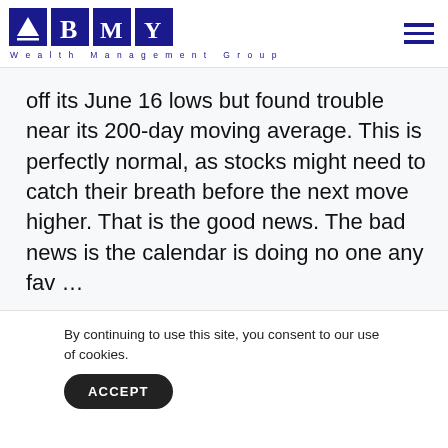BMY Wealth Management Group
off its June 16 lows but found trouble near its 200-day moving average. This is perfectly normal, as stocks might need to catch their breath before the next move higher. That is the good news. The bad news is the calendar is doing no one any fav …
By continuing to use this site, you consent to our use of cookies.
ACCEPT